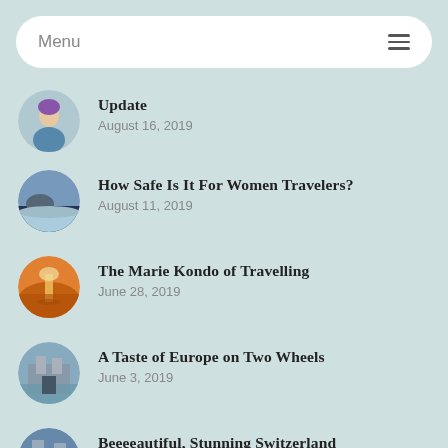Menu
Update
August 16, 2019
How Safe Is It For Women Travelers?
August 11, 2019
The Marie Kondo of Travelling
June 28, 2019
A Taste of Europe on Two Wheels
June 3, 2019
Beeeeautiful, Stunning Switzerland
May 29, 2019
Travelling with a Mobile Phone: You get it...